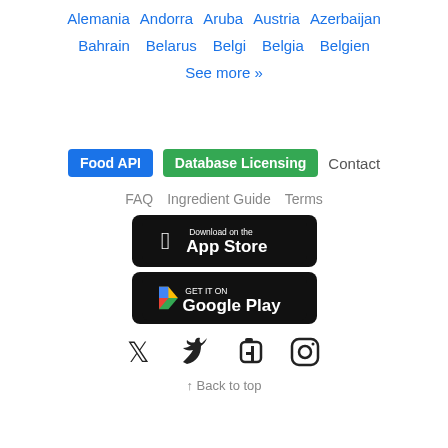Alemania   Andorra   Aruba   Austria   Azerbaijan
Bahrain   Belarus   Belgi   Belgia   Belgien
See more »
Food API   Database Licensing   Contact
FAQ   Ingredient Guide   Terms
[Figure (other): Download on the App Store button]
[Figure (other): Get it on Google Play button]
[Figure (other): Twitter, Facebook, Instagram social media icons]
↑ Back to top